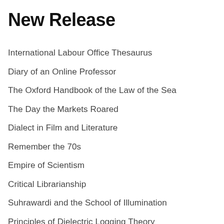New Release
International Labour Office Thesaurus
Diary of an Online Professor
The Oxford Handbook of the Law of the Sea
The Day the Markets Roared
Dialect in Film and Literature
Remember the 70s
Empire of Scientism
Critical Librarianship
Suhrawardi and the School of Illumination
Principles of Dielectric Logging Theory